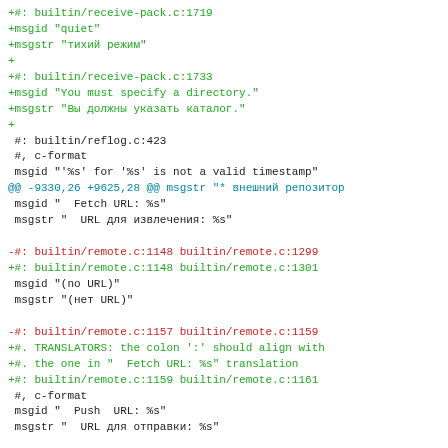Code diff showing git localization file changes with added/removed lines in green/red, context lines in black, and diff hunk headers in cyan.